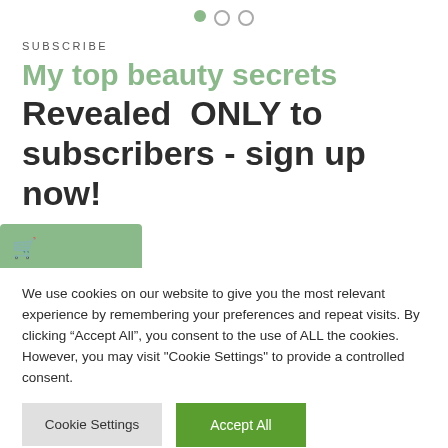[Figure (other): Pagination dots: one filled green dot and two empty circle dots]
SUBSCRIBE
My top beauty secrets
Revealed  ONLY to subscribers - sign up now!
We use cookies on our website to give you the most relevant experience by remembering your preferences and repeat visits. By clicking “Accept All”, you consent to the use of ALL the cookies. However, you may visit "Cookie Settings" to provide a controlled consent.
Cookie Settings | Accept All